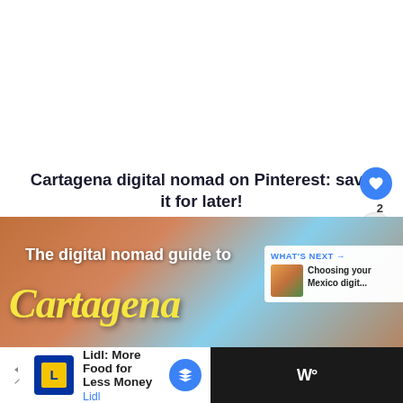[Figure (other): Blank white space at top of page]
Cartagena digital nomad on Pinterest: save it for later!
[Figure (photo): Photo overlay card showing 'The digital nomad guide to Cartagena' with colorful Cartagena street backdrop, yellow stylized Cartagena text, share/heart buttons, and a 'WHAT'S NEXT' panel showing 'Choosing your Mexico digit...']
Lidl: More Food for Less Money
Lidl